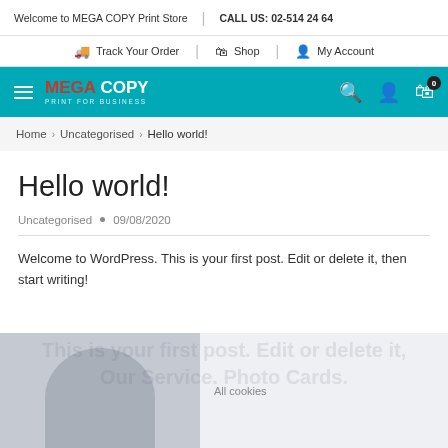Welcome to MEGA COPY Print Store | CALL US: 02-514 24 64
Track Your Order | Shop | My Account
MEGA COPY PRINT FOR BUSINESS
Home > Uncategorised > Hello world!
Hello world!
Uncategorised • 09/08/2020
Welcome to WordPress. This is your first post. Edit or delete it, then start writing!
[Figure (screenshot): Cookie consent overlay with avatar image placeholder and 'All cookies' button]